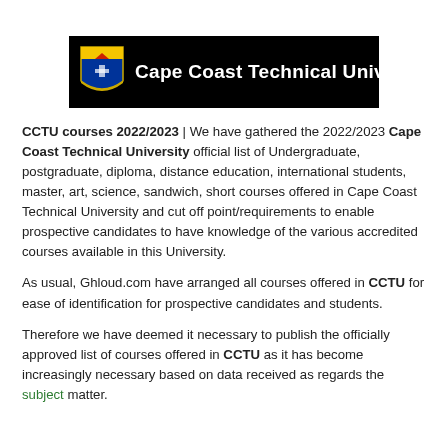[Figure (logo): Cape Coast Technical University logo on black banner background with shield emblem and white text]
CCTU courses 2022/2023 | We have gathered the 2022/2023 Cape Coast Technical University official list of Undergraduate, postgraduate, diploma, distance education, international students, master, art, science, sandwich, short courses offered in Cape Coast Technical University and cut off point/requirements to enable prospective candidates to have knowledge of the various accredited courses available in this University.
As usual, Ghloud.com have arranged all courses offered in CCTU for ease of identification for prospective candidates and students.
Therefore we have deemed it necessary to publish the officially approved list of courses offered in CCTU as it has become increasingly necessary based on data received as regards the subject matter.